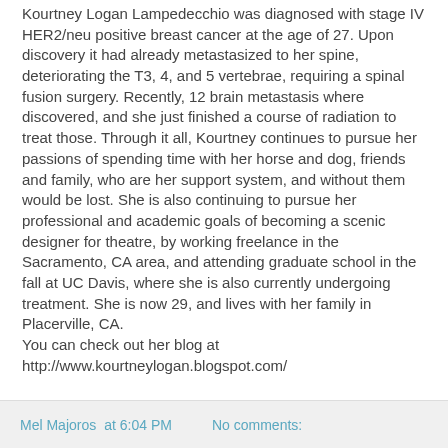Kourtney Logan Lampedecchio was diagnosed with stage IV HER2/neu positive breast cancer at the age of 27. Upon discovery it had already metastasized to her spine, deteriorating the T3, 4, and 5 vertebrae, requiring a spinal fusion surgery. Recently, 12 brain metastasis where discovered, and she just finished a course of radiation to treat those. Through it all, Kourtney continues to pursue her passions of spending time with her horse and dog, friends and family, who are her support system, and without them would be lost. She is also continuing to pursue her professional and academic goals of becoming a scenic designer for theatre, by working freelance in the Sacramento, CA area, and attending graduate school in the fall at UC Davis, where she is also currently undergoing treatment. She is now 29, and lives with her family in Placerville, CA.
You can check out her blog at http://www.kourtneylogan.blogspot.com/
Mel Majoros at 6:04 PM    No comments: